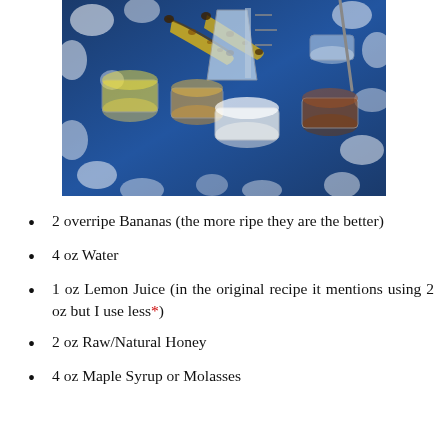[Figure (photo): Overhead photo of several small glass jars and containers with various liquids and powders (oils, honey, lemon juice, white powder/flour) arranged on a blue and white floral fabric, with two overripe bananas visible and a measuring cup.]
2 overripe Bananas (the more ripe they are the better)
4 oz Water
1 oz Lemon Juice (in the original recipe it mentions using 2 oz but I use less*)
2 oz Raw/Natural Honey
4 oz Maple Syrup or Molasses